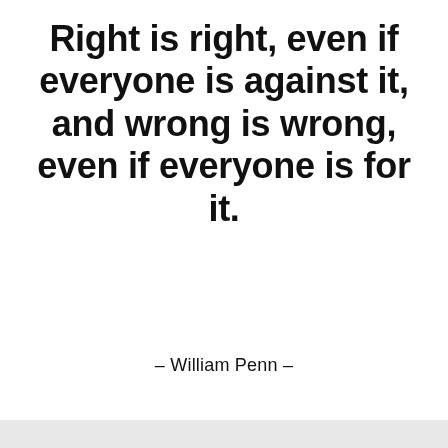Right is right, even if everyone is against it, and wrong is wrong, even if everyone is for it.
– William Penn –